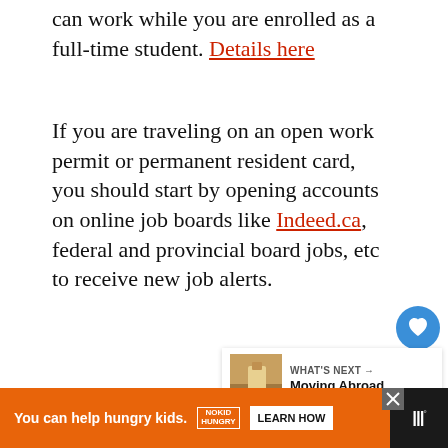can work while you are enrolled as a full-time student. Details here
If you are traveling on an open work permit or permanent resident card, you should start by opening accounts on online job boards like Indeed.ca, federal and provincial board jobs, etc to receive new job alerts.
[Figure (other): Blue circular like/heart button and white circular share button floating on right side]
[Figure (other): What's Next card showing Moving Abroad... with thumbnail image]
[Figure (other): Orange advertisement banner: You can help hungry kids. No Kid Hungry. Learn How button. Close button. Dark bottom bar with logo.]